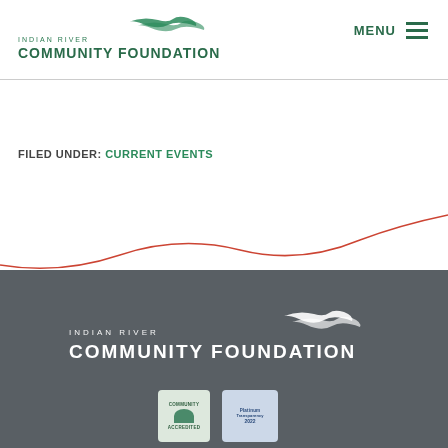INDIAN RIVER COMMUNITY FOUNDATION
FILED UNDER: CURRENT EVENTS
[Figure (illustration): Red wavy decorative line across the page]
[Figure (logo): Indian River Community Foundation white logo on dark gray footer background]
[Figure (other): Community Accredited badge and Platinum Transparency 2022 badge]